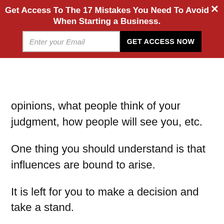Get Access To The 17 Mistakes You Need To Avoid When Starting a Business.
opinions, what people think of your judgment, how people will see you, etc.
One thing you should understand is that influences are bound to arise.
It is left for you to make a decision and take a stand.
Hence, when you have passed a judgment on anything, avoid going back to it because of the external influence.